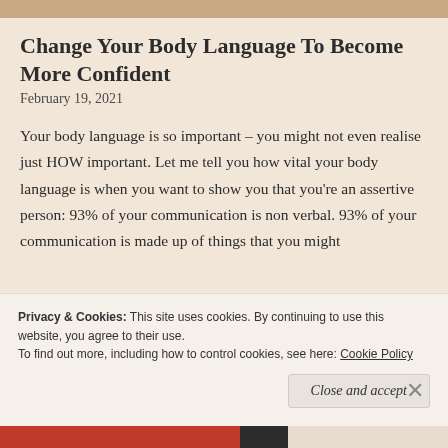[Figure (photo): Partial image strip at the top of the page, cropped]
Change Your Body Language To Become More Confident
February 19, 2021
Your body language is so important – you might not even realise just HOW important. Let me tell you how vital your body language is when you want to show you that you're an assertive person: 93% of your communication is non verbal. 93% of your communication is made up of things that you might
Privacy & Cookies: This site uses cookies. By continuing to use this website, you agree to their use.
To find out more, including how to control cookies, see here: Cookie Policy
Close and accept